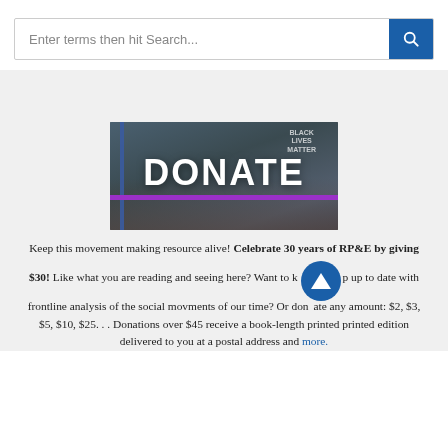[Figure (screenshot): Search bar with placeholder text 'Enter terms then hit Search...' and a dark blue search button with magnifying glass icon on the right]
[Figure (photo): Donate banner image showing crowd with 'BLACK LIVES MATTER' sign overlaid with large white 'DONATE' text and a purple horizontal bar]
Keep this movement making resource alive! Celebrate 30 years of RP&E by giving $30!  Like what you are reading and seeing here? Want to keep up to date with frontline analysis of the social movments of our time? Or donate any amount: $2, $3, $5, $10, $25. . . Donations over $45 receive a book-length printed printed edition delivered to you at a postal address and more.